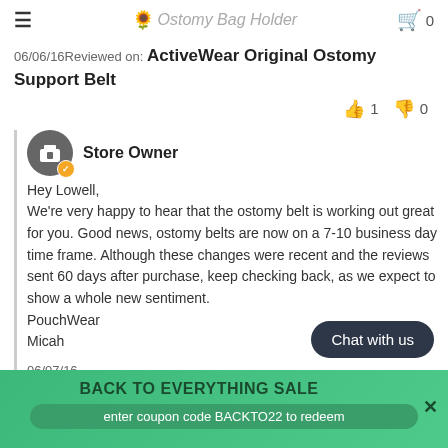☰  🌻 Ostomy Bag Holder  🛒 0
06/06/16 Reviewed on: ActiveWear Original Ostomy Support Belt
👍 1  👎 0
Store Owner
Hey Lowell,
We're very happy to hear that the ostomy belt is working out great for you. Good news, ostomy belts are now on a 7-10 business day time frame. Although these changes were recent and the reviews sent 60 days after purchase, keep checking back, as we expect to show a whole new sentiment.
PouchWear
Micah
06/07/16
Chat with us
BACK TO EVERYTHING SALE
enter coupon code BACKTO22 to redeem